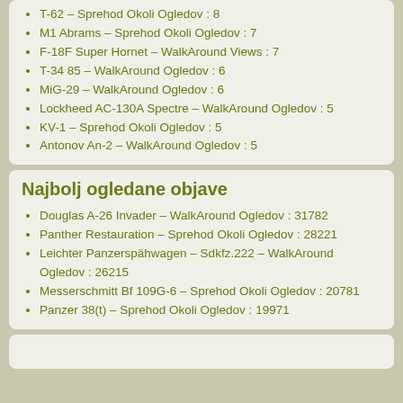T-62 – Sprehod Okoli Ogledov : 8
M1 Abrams – Sprehod Okoli Ogledov : 7
F-18F Super Hornet – WalkAround Views : 7
T-34 85 – WalkAround Ogledov : 6
MiG-29 – WalkAround Ogledov : 6
Lockheed AC-130A Spectre – WalkAround Ogledov : 5
KV-1 – Sprehod Okoli Ogledov : 5
Antonov An-2 – WalkAround Ogledov : 5
Najbolj ogledane objave
Douglas A-26 Invader – WalkAround Ogledov : 31782
Panther Restauration – Sprehod Okoli Ogledov : 28221
Leichter Panzerspähwagen – Sdkfz.222 – WalkAround Ogledov : 26215
Messerschmitt Bf 109G-6 – Sprehod Okoli Ogledov : 20781
Panzer 38(t) – Sprehod Okoli Ogledov : 19971